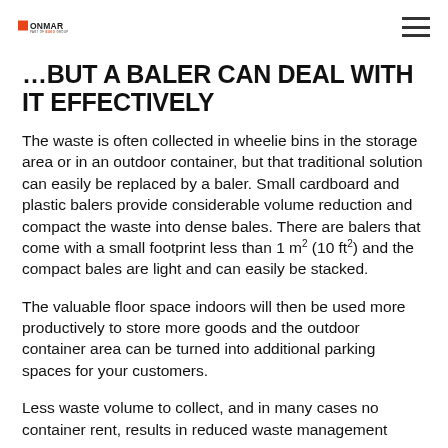ONMAR PART OF BUKO GROUP
…BUT A BALER CAN DEAL WITH IT EFFECTIVELY
The waste is often collected in wheelie bins in the storage area or in an outdoor container, but that traditional solution can easily be replaced by a baler. Small cardboard and plastic balers provide considerable volume reduction and compact the waste into dense bales. There are balers that come with a small footprint less than 1 m² (10 ft²) and the compact bales are light and can easily be stacked.
The valuable floor space indoors will then be used more productively to store more goods and the outdoor container area can be turned into additional parking spaces for your customers.
Less waste volume to collect, and in many cases no container rent, results in reduced waste management